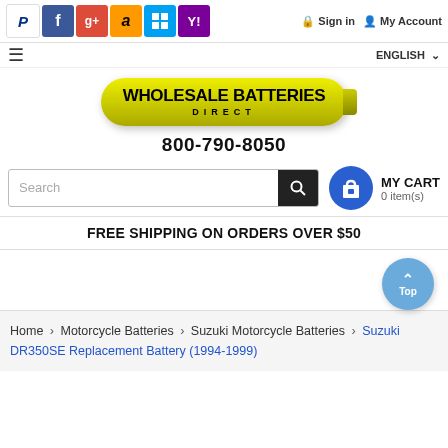Wholesale Batteries Direct — Sign in | My Account | ENGLISH
[Figure (logo): Wholesale Batteries Direct logo — yellow battery-shaped pill with bold black text]
800-790-8050
Search | MY CART 0 item(s)
FREE SHIPPING ON ORDERS OVER $50
Home > Motorcycle Batteries > Suzuki Motorcycle Batteries > Suzuki DR350SE Replacement Battery (1994-1999)